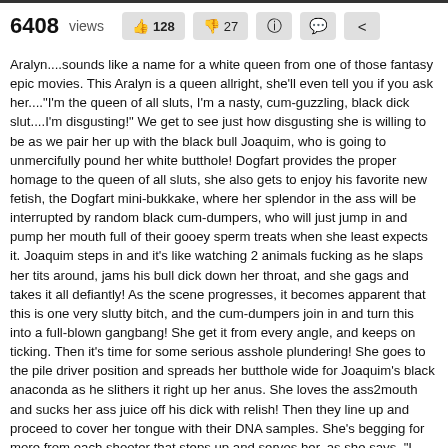6408 views  👍 128  👎 27
Aralyn....sounds like a name for a white queen from one of those fantasy epic movies. This Aralyn is a queen allright, she'll even tell you if you ask her...."I'm the queen of all sluts, I'm a nasty, cum-guzzling, black dick slut....I'm disgusting!" We get to see just how disgusting she is willing to be as we pair her up with the black bull Joaquim, who is going to unmercifully pound her white butthole! Dogfart provides the proper homage to the queen of all sluts, she also gets to enjoy his favorite new fetish, the Dogfart mini-bukkake, where her splendor in the ass will be interrupted by random black cum-dumpers, who will just jump in and pump her mouth full of their gooey sperm treats when she least expects it. Joaquim steps in and it's like watching 2 animals fucking as he slaps her tits around, jams his bull dick down her throat, and she gags and takes it all defiantly! As the scene progresses, it becomes apparent that this is one very slutty bitch, and the cum-dumpers join in and turn this into a full-blown gangbang! She get it from every angle, and keeps on ticking. Then it's time for some serious asshole plundering! She goes to the pile driver position and spreads her butthole wide for Joaquim's black anaconda as he slithers it right up her anus. She loves the ass2mouth and sucks her ass juice off his dick with relish! Then they line up and proceed to cover her tongue with their DNA samples. She's begging for more from each shooter that steps up and serves her, as she says, "I want to drink your black baby juice!" She finally gets crowned the queen of all sluts as the last blaster hoses her mouth and her whole face, and leaves her looking like a refugee from a spooge factory!